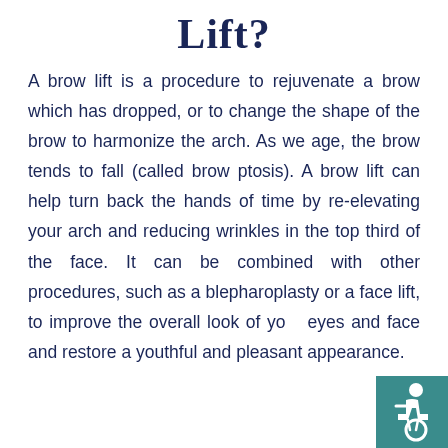Lift?
A brow lift is a procedure to rejuvenate a brow which has dropped, or to change the shape of the brow to harmonize the arch. As we age, the brow tends to fall (called brow ptosis). A brow lift can help turn back the hands of time by re-elevating your arch and reducing wrinkles in the top third of the face. It can be combined with other procedures, such as a blepharoplasty or a face lift, to improve the overall look of your eyes and face and restore a youthful and pleasant appearance.
[Figure (illustration): Accessibility wheelchair icon in teal square, bottom-right corner]